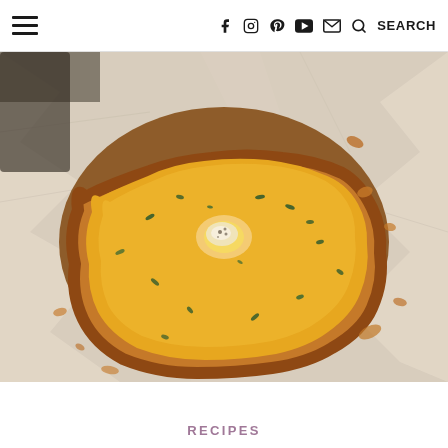Navigation bar with hamburger menu, social icons (Facebook, Instagram, Pinterest, YouTube, Email), search icon and SEARCH label
[Figure (photo): Close-up photo of a toasted bread slice topped with melted cheddar cheese and herbs (parsley), placed on crinkled aluminum foil, viewed from above at a slight angle.]
RECIPES